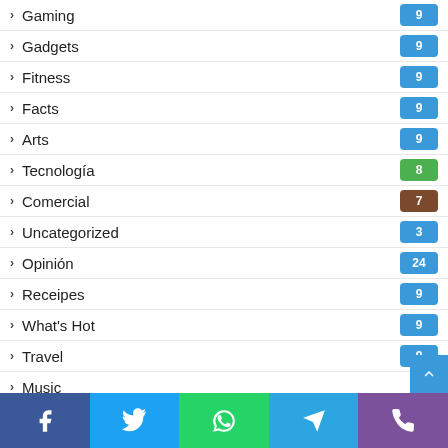Gaming 9
Gadgets 9
Fitness 9
Facts 9
Arts 9
Tecnología 8
Comercial 7
Uncategorized 3
Opinión 24
Receipes 9
What's Hot 9
Travel 9
Music